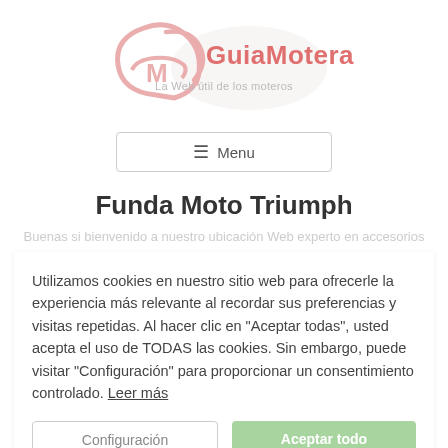[Figure (logo): GuiaMotera.com logo with helmet icon and salmon/pink text, tagline 'La Web útil de los moteros']
≡  Menu
Funda Moto Triumph
Buenas si bienvenido a nuestro ubicación Web experto en accesorios
Utilizamos cookies en nuestro sitio web para ofrecerle la experiencia más relevante al recordar sus preferencias y visitas repetidas. Al hacer clic en "Aceptar todas", usted acepta el uso de TODAS las cookies. Sin embargo, puede visitar "Configuración" para proporcionar un consentimiento controlado. Leer más
Configuración
Aceptar todo